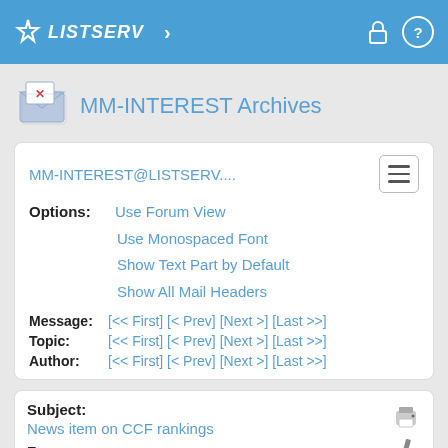LISTSERV
MM-INTEREST Archives
MM-INTEREST@LISTSERV....
Options: Use Forum View
Use Monospaced Font
Show Text Part by Default
Show All Mail Headers
Message: [<< First] [< Prev] [Next >] [Last >>]
Topic: [<< First] [< Prev] [Next >] [Last >>]
Author: [<< First] [< Prev] [Next >] [Last >>]
Subject:
News item on CCF rankings
From:
Balakrishnan Prabhakaran <[log in to unmask]>